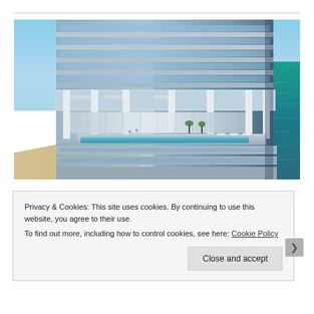[Figure (photo): Aerial rendering of a modern luxury high-rise residential tower with glass balconies and an infinity pool, overlooking turquoise ocean water and a sandy beach.]
Privacy & Cookies: This site uses cookies. By continuing to use this website, you agree to their use.
To find out more, including how to control cookies, see here: Cookie Policy
Close and accept